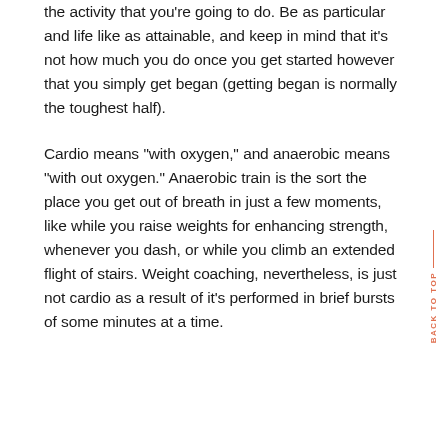the activity that you're going to do. Be as particular and life like as attainable, and keep in mind that it's not how much you do once you get started however that you simply get began (getting began is normally the toughest half).
Cardio means “with oxygen,” and anaerobic means “with out oxygen.” Anaerobic train is the sort the place you get out of breath in just a few moments, like while you raise weights for enhancing strength, whenever you dash, or while you climb an extended flight of stairs. Weight coaching, nevertheless, is just not cardio as a result of it’s performed in brief bursts of some minutes at a time.